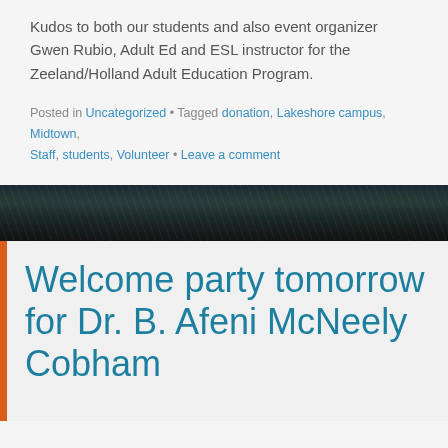Kudos to both our students and also event organizer Gwen Rubio, Adult Ed and ESL instructor for the Zeeland/Holland Adult Education Program.
Posted in Uncategorized • Tagged donation, Lakeshore campus, Midtown, Staff, students, Volunteer • Leave a comment
[Figure (photo): Dark outdoor winter photo strip showing bare tree branches against a grey sky]
Welcome party tomorrow for Dr. B. Afeni McNeely Cobham